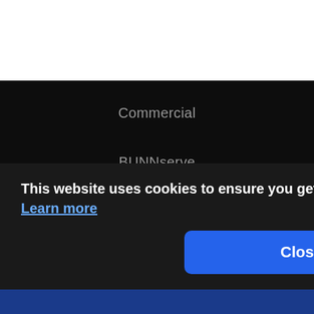Commercial
BUNNserve
Home Products
Company
Mission & Values
This website uses cookies to ensure you get the best experience on our website. Learn more
Close